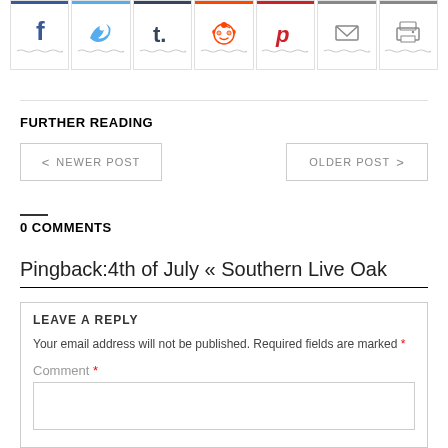[Figure (other): Social sharing icons row: Facebook (blue), Twitter (light blue), Tumblr (dark blue), Reddit (red), Pinterest (red), Email (gray), Print (gray)]
FURTHER READING
< NEWER POST
OLDER POST >
0 COMMENTS
Pingback:4th of July « Southern Live Oak
LEAVE A REPLY
Your email address will not be published. Required fields are marked *
Comment *